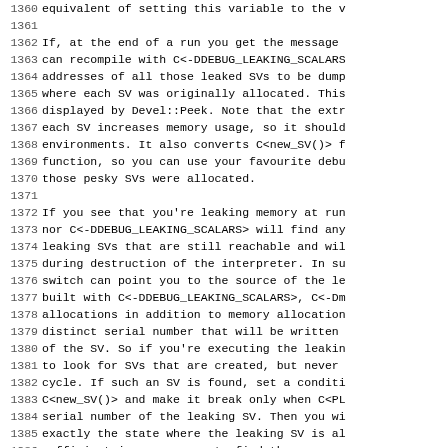1360 equivalent of setting this variable to the v
1361 
1362 If, at the end of a run you get the message
1363 can recompile with C<-DDEBUG_LEAKING_SCALARS
1364 addresses of all those leaked SVs to be dump
1365 where each SV was originally allocated. This
1366 displayed by Devel::Peek. Note that the extr
1367 each SV increases memory usage, so it should
1368 environments. It also converts C<new_SV()> f
1369 function, so you can use your favourite debu
1370 those pesky SVs were allocated.
1371 
1372 If you see that you're leaking memory at run
1373 nor C<-DDEBUG_LEAKING_SCALARS> will find any
1374 leaking SVs that are still reachable and wil
1375 during destruction of the interpreter. In su
1376 switch can point you to the source of the le
1377 built with C<-DDEBUG_LEAKING_SCALARS>, C<-Dm
1378 allocations in addition to memory allocation
1379 distinct serial number that will be written
1380 of the SV. So if you're executing the leakin
1381 to look for SVs that are created, but never
1382 cycle. If such an SV is found, set a conditi
1383 C<new_SV()> and make it break only when C<PL
1384 serial number of the leaking SV. Then you wi
1385 exactly the state where the leaking SV is al
1386 sufficient in many cases to find the source
1387 
1388 As C<-Dm> is using the PerlIO layer for outp
1389 allocate quite a bunch of SVs, which are hid
1390 can bypass the PerlIO layer if you use the S
1391 C<-DPERL_MEM_LOG> instead.